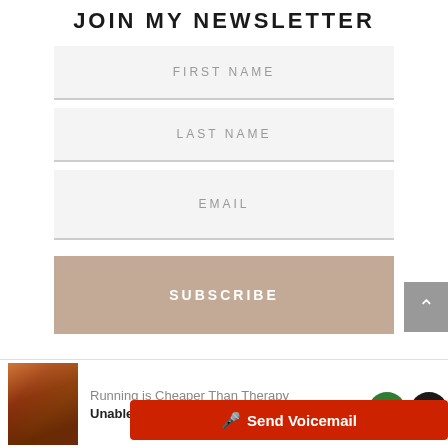JOIN MY NEWSLETTER
FIRST NAME
LAST NAME
EMAIL
SUBSCRIBE
Running is Cheaper Than Therapy
Unable to retrieve track d
Send Voicemail